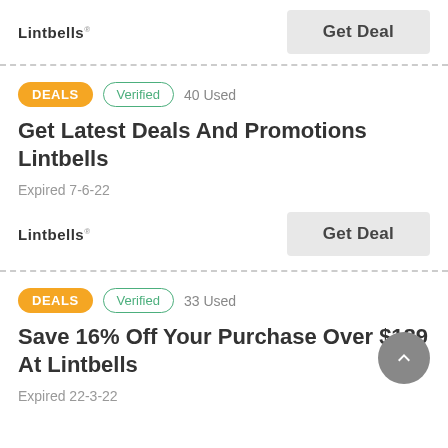Lintbells
Get Deal
DEALS  Verified  40 Used
Get Latest Deals And Promotions Lintbells
Expired 7-6-22
Lintbells
Get Deal
DEALS  Verified  33 Used
Save 16% Off Your Purchase Over $189 At Lintbells
Expired 22-3-22